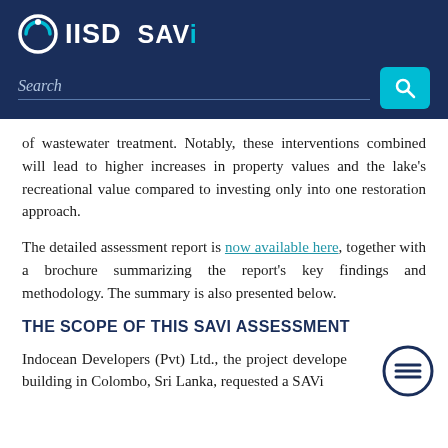IISD SAVi — Search bar header
of wastewater treatment. Notably, these interventions combined will lead to higher increases in property values and the lake's recreational value compared to investing only into one restoration approach.
The detailed assessment report is now available here, together with a brochure summarizing the report's key findings and methodology. The summary is also presented below.
THE SCOPE OF THIS SAVI ASSESSMENT
Indocean Developers (Pvt) Ltd., the project developer of the Altair building in Colombo, Sri Lanka, requested a SAVi